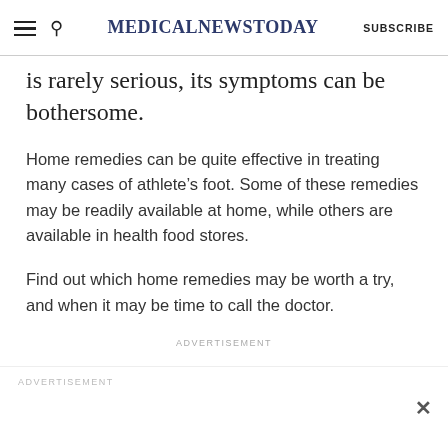MedicalNewsToday  SUBSCRIBE
is rarely serious, its symptoms can be bothersome.
Home remedies can be quite effective in treating many cases of athlete’s foot. Some of these remedies may be readily available at home, while others are available in health food stores.
Find out which home remedies may be worth a try, and when it may be time to call the doctor.
ADVERTISEMENT
ADVERTISEMENT